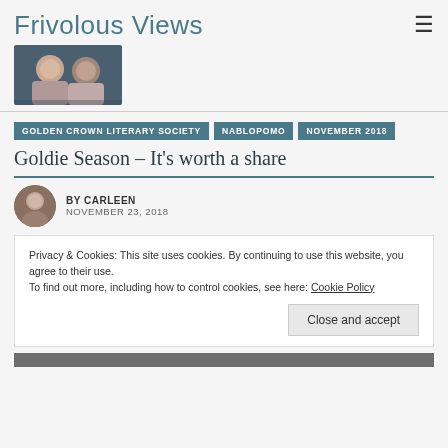Frivolous Views
[Figure (photo): Two women posing together for a photo, blog logo image]
GOLDEN CROWN LITERARY SOCIETY
NABLOPOMO
NOVEMBER 2018
Goldie Season – It's worth a share
BY CARLEEN
NOVEMBER 23, 2018
Privacy & Cookies: This site uses cookies. By continuing to use this website, you agree to their use.
To find out more, including how to control cookies, see here: Cookie Policy
Close and accept